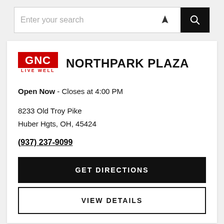[Figure (screenshot): Search bar with placeholder text 'Enter your search', location arrow icon, and black search button with magnifying glass icon]
GNC LIVE WELL NORTHPARK PLAZA
Open Now - Closes at 4:00 PM
8233 Old Troy Pike
Huber Hgts, OH, 45424
(937) 237-9099
GET DIRECTIONS
VIEW DETAILS